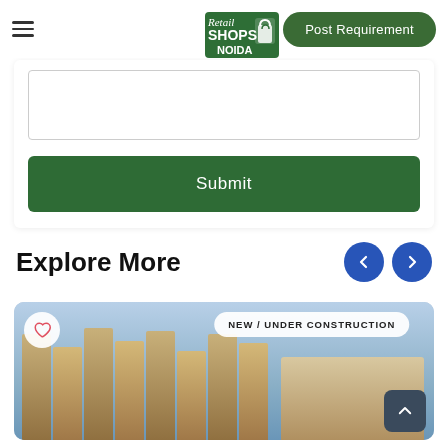Retail Shops Noida — Post Requirement button and hamburger menu
[Figure (logo): Retail Shops Noida logo with green background and shopping bag icon]
[Figure (screenshot): Text area input field (form)]
Submit
Explore More
[Figure (photo): Property image showing a modern commercial building under construction with NEW / UNDER CONSTRUCTION tag, heart icon, and scroll-up button]